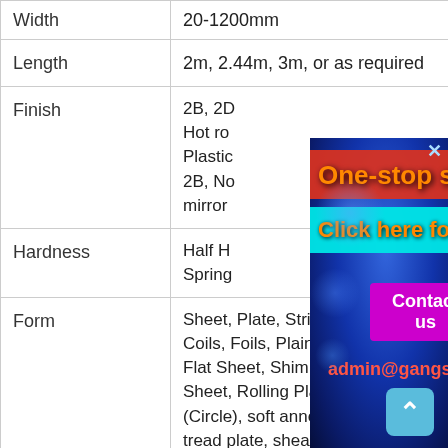| Property | Value |
| --- | --- |
| Width | 20-1200mm |
| Length | 2m, 2.44m, 3m, or as required |
| Finish | 2B, 2D, BA, No.1, No.4, No.8, Mirror, Hair Line, Sand Blast, Etched, Bright, Brushed, Satin, Matte, Dull, Bead Blast, Hot rolled, Cold rolled, No.3, No.4, No.6, No.7, No.8 (Mirror), Plastic Coated, Embossed (Linen, Diamond, Rice), Perforated 2B, No.4, BA, HL, TH, 8K, 6K, 4K, Mirror |
| Hardness | Half Hard, Quarter Hard, Soft, Hard, Extra Hard, Spring Hard, Spring |
| Form | Sheet, Plate, Strip, Flats, Clad Plate, Coils, Foils, Plain Sheet, Flat Shim, Flat Sheet, Shim Sheet, Rolling Sheet, Rolling Plate, Rolls, Blank (Circle), soft annealed, descaled, tread plate, sheared, annealed, Checker Plate |
[Figure (screenshot): Advertising overlay popup for gangsteel.com steel plate supplier. Shows blue glowing background with text: 'One-stop shop Steel plate' in orange on red bar, 'Click here for online chat' in orange on cyan bar, 'Contact us' button in magenta, and 'admin@gangsteel.com' in red. Close button top right.]